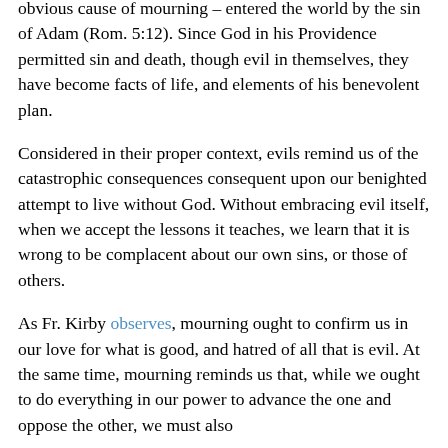obvious cause of mourning – entered the world by the sin of Adam (Rom. 5:12). Since God in his Providence permitted sin and death, though evil in themselves, they have become facts of life, and elements of his benevolent plan.
Considered in their proper context, evils remind us of the catastrophic consequences consequent upon our benighted attempt to live without God. Without embracing evil itself, when we accept the lessons it teaches, we learn that it is wrong to be complacent about our own sins, or those of others.
As Fr. Kirby observes, mourning ought to confirm us in our love for what is good, and hatred of all that is evil. At the same time, mourning reminds us that, while we ought to do everything in our power to advance the one and oppose the other, we must also